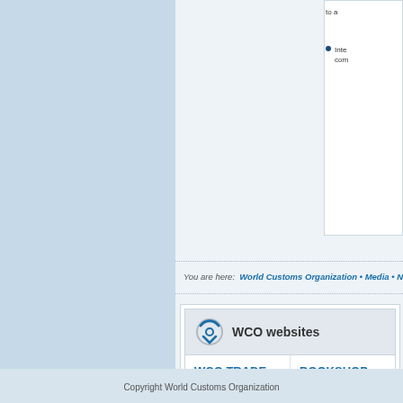to a...
Inte... com...
You are here: World Customs Organization • Media • New...
WCO websites
WCO TRADE TOOLS
International Standards for Customs in one place: HS, Origin &
BOOKSHOP
Order WCO publications online
Copyright World Customs Organization